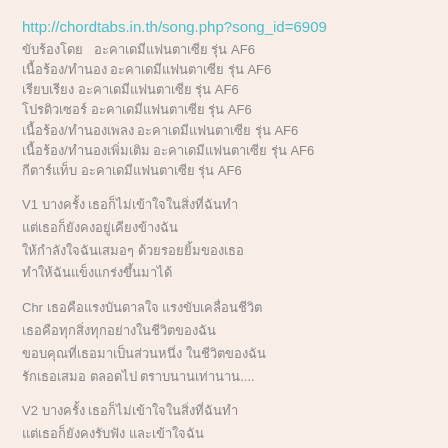http://chordtabs.in.th/song.php?song_id=6909
ขับร้องโดย  อะคาเดมีแฟนตาเซีย รุ่น AF6
เนื้อร้อง/ทำนอง อะคาเดมีแฟนตาเซีย รุ่น AF6
เรียบเรียง อะคาเดมีแฟนตาเซีย รุ่น AF6
โปรดิวเซอร์ อะคาเดมีแฟนตาเซีย รุ่น AF6
เนื้อร้อง/ทำนองเพลง อะคาเดมีแฟนตาเซีย รุ่น AF6
เนื้อร้อง/ทำนองเพิ่มเติม อะคาเดมีแฟนตาเซีย รุ่น AF6
กีตาร์แท็บ อะคาเดมีแฟนตาเซีย รุ่น AF6
V1 บางครั้ง เธอก็ไม่เข้าใจในสิ่งที่ฉันทำ
แต่เธอก็ยังคงอยู่เคียงข้างฉัน
ให้กำลังใจฉันเสมอๆ ด้วยรอยยิ้มของเธอ
ทำให้ฉันแข็งแกร่งขึ้นมาได้
Chr เธอคือแรงบันดาลใจ แรงขับเคลื่อนชีวิต
เธอคือทุกสิ่งทุกอย่างในชีวิตของฉัน
ขอบคุณที่เธอมาเป็นส่วนหนึ่ง ในชีวิตของฉัน
รักเธอเสมอ ตลอดไป ตราบนานเท่านาน....
V2 บางครั้ง เธอก็ไม่เข้าใจในสิ่งที่ฉันทำ
แต่เธอก็ยังคงรับฟัง และเข้าใจฉัน